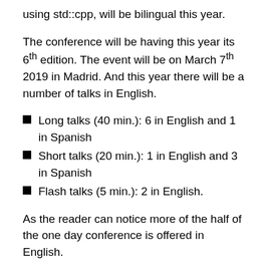using std::cpp, will be bilingual this year.
The conference will be having this year its 6th edition. The event will be on March 7th 2019 in Madrid. And this year there will be a number of talks in English.
Long talks (40 min.): 6 in English and 1 in Spanish
Short talks (20 min.): 1 in English and 3 in Spanish
Flash talks (5 min.): 2 in English.
As the reader can notice more of the half of the one day conference is offered in English.
Speakers in using std::cpp 2019 include among others Arno Schödl (Think-Cell Software), Guy Davidson (Creative Assembly), Axel Naumann (CERN), Joaquin M. López (author of Boost libraries MultiIndex, Flyweight, PolyCollection) and J. Daniel Garcia (ISO C++ committee